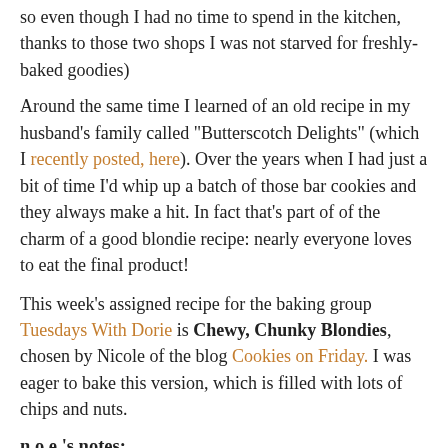so even though I had no time to spend in the kitchen, thanks to those two shops I was not starved for freshly-baked goodies)
Around the same time I learned of an old recipe in my husband's family called "Butterscotch Delights" (which I recently posted, here). Over the years when I had just a bit of time I'd whip up a batch of those bar cookies and they always make a hit. In fact that's part of of the charm of a good blondie recipe: nearly everyone loves to eat the final product!
This week's assigned recipe for the baking group Tuesdays With Dorie is Chewy, Chunky Blondies, chosen by Nicole of the blog Cookies on Friday. I was eager to bake this version, which is filled with lots of chips and nuts.
n.o.e.'s notes:
- Dorie's recipe (which you can find on Nicole's post, here) calls for light brown sugar and granulated sugar. I used dark brown sugar and palm sugar - to emphasize the